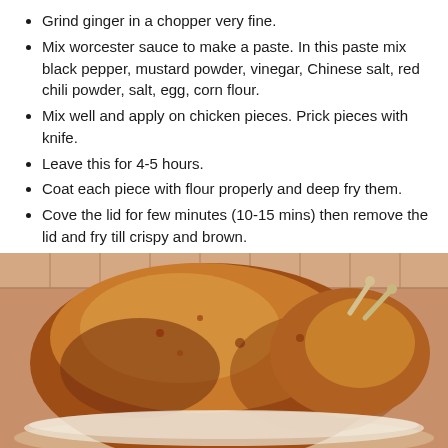Grind ginger in a chopper very fine.
Mix worcester sauce to make a paste. In this paste mix black pepper, mustard powder, vinegar, Chinese salt, red chili powder, salt, egg, corn flour.
Mix well and apply on chicken pieces. Prick pieces with knife.
Leave this for 4-5 hours.
Coat each piece with flour properly and deep fry them.
Cove the lid for few minutes (10-15 mins) then remove the lid and fry till crispy and brown.
Serve with dip and fries.
For DUCKY MAS POTATOES click here…..Mash Potatoes.
[Figure (photo): Photo of a whole deep-fried crispy brown chicken on a plate, with tile background visible.]